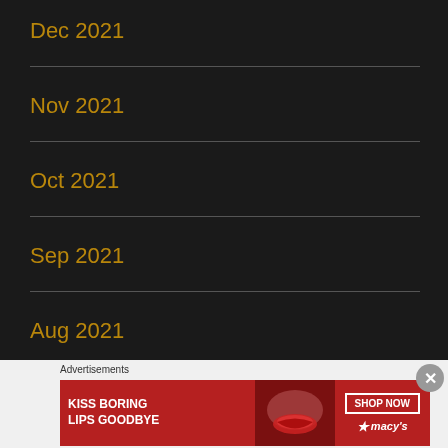Dec 2021
Nov 2021
Oct 2021
Sep 2021
Aug 2021
Jul 2021
Jun 2021
[Figure (screenshot): Macy's advertisement banner: 'KISS BORING LIPS GOODBYE' with SHOP NOW button and Macy's logo on red background]
Advertisements